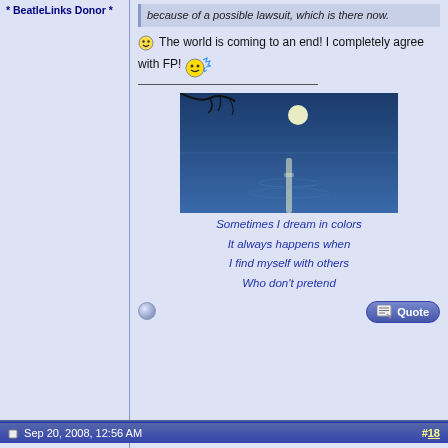* BeatleLinks Donor *
because of a possible lawsuit, which is there now.
The world is coming to an end! I completely agree with FP!
[Figure (photo): Night sky photo with full moon reflected on water, silhouette of branches at top]
Sometimes I dream in colors
It always happens when
I find myself with others
Who don't pretend
Sep 20, 2008, 12:56 AM
#18
ABCKO
Old Brown Shoe
[Figure (photo): Avatar image of band photo]
[Figure (screenshot): Note/document icon]
Quote:
Originally Posted by